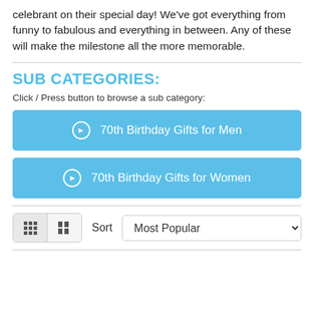celebrant on their special day! We've got everything from funny to fabulous and everything in between. Any of these will make the milestone all the more memorable.
SUB CATEGORIES:
Click / Press button to browse a sub category:
➔ 70th Birthday Gifts for Men
➔ 70th Birthday Gifts for Women
Sort  Most Popular